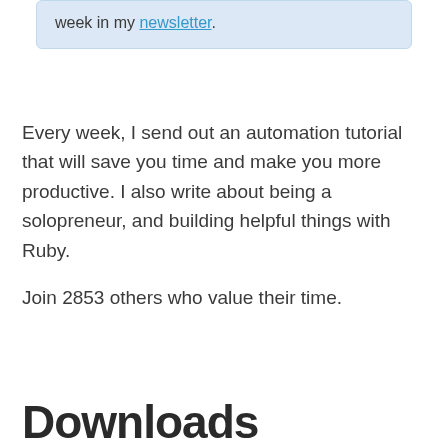week in my newsletter.
Every week, I send out an automation tutorial that will save you time and make you more productive. I also write about being a solopreneur, and building helpful things with Ruby.

Join 2853 others who value their time.
Downloads